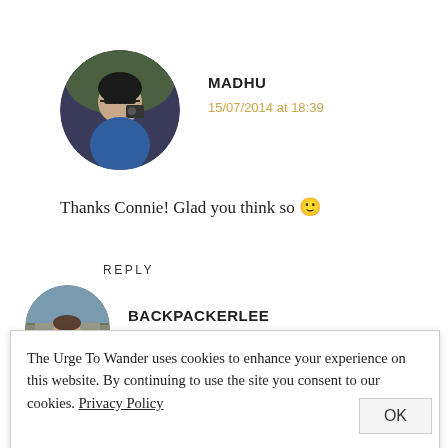[Figure (photo): Circular avatar photo of Madhu — a woman holding a camera, wearing sunglasses and a blue top]
MADHU
15/07/2014 at 18:39
Thanks Connie! Glad you think so 🙂
REPLY
[Figure (photo): Circular avatar photo of BackpackerLee — a man with sunglasses in front of an ancient temple/ruins]
BACKPACKERLEE
The Urge To Wander uses cookies to enhance your experience on this website. By continuing to use the site you consent to our cookies. Privacy Policy
OK